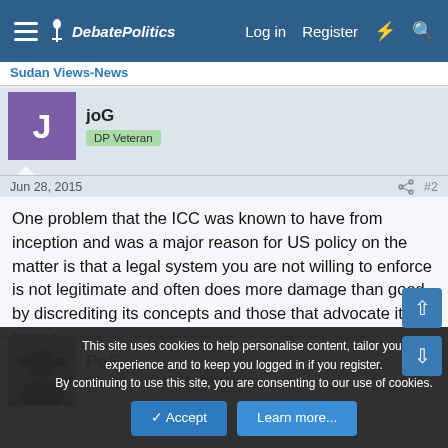DebatePolitics — Log in  Register
Sudan Views-News
joG
DP Veteran
Jun 28, 2015  #2
One problem that the ICC was known to have from inception and was a major reason for US policy on the matter is that a legal system you are not willing to enforce is not legitimate and often does more damage than good by discrediting its concepts and those that advocate its norms.
PoS
Minister of Love  DP Veteran
This site uses cookies to help personalise content, tailor your experience and to keep you logged in if you register.
By continuing to use this site, you are consenting to our use of cookies.
Accept  Learn more...